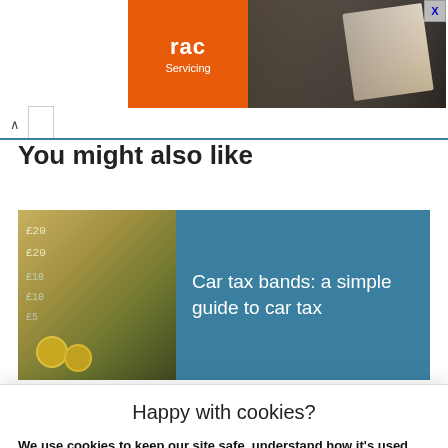[Figure (other): RAC Servicing advertisement banner with orange RAC logo box and photo of person holding document near a car]
You might also like
[Figure (other): Article card: image of British currency (notes and coins) with teal background panel reading 'Car tax bands: a simple guide to car tax']
Happy with cookies?
We use cookies to keep our site safe, understand how it's used, give you a better experience and show you more relevant ads. Read how we - and our partners - use cookies.
Yes, that's fine
No, manage cookies